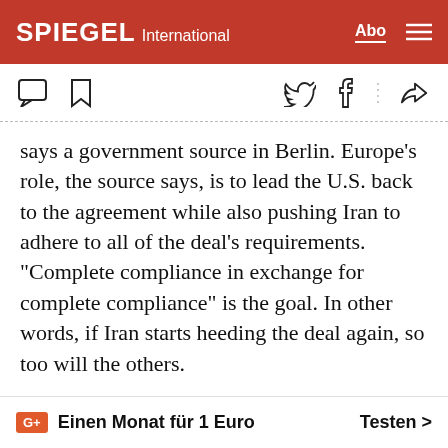SPIEGEL International
[Figure (screenshot): Toolbar with comment, bookmark, Twitter, Facebook, and share icons]
says a government source in Berlin. Europe's role, the source says, is to lead the U.S. back to the agreement while also pushing Iran to adhere to all of the deal's requirements. "Complete compliance in exchange for complete compliance" is the goal. In other words, if Iran starts heeding the deal again, so too will the others.
It's unlikely that goal will be reached quickly. As such, Berlin has proposed a step-by-step approach. The plan calls for Biden to loosen sanctions as Iran
G+ Einen Monat für 1 Euro   Testen >